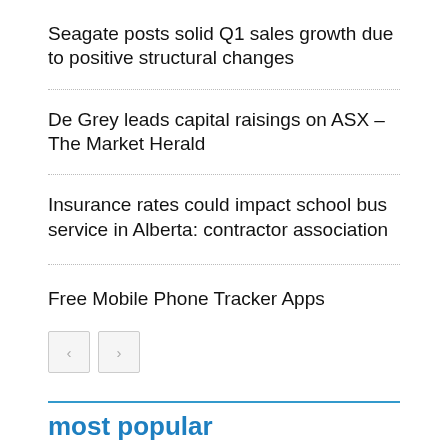Seagate posts solid Q1 sales growth due to positive structural changes
De Grey leads capital raisings on ASX – The Market Herald
Insurance rates could impact school bus service in Alberta: contractor association
Free Mobile Phone Tracker Apps
most popular